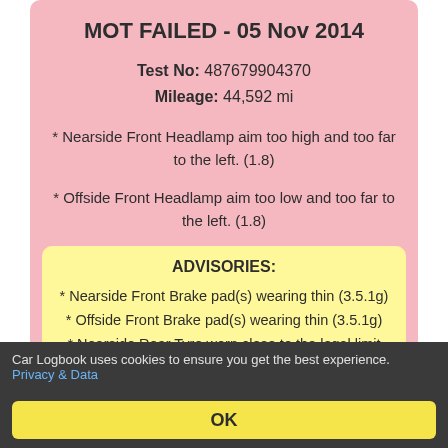MOT FAILED - 05 Nov 2014
Test No: 487679904370
Mileage: 44,592 mi
* Nearside Front Headlamp aim too high and too far to the left. (1.8)
* Offside Front Headlamp aim too low and too far to the left. (1.8)
ADVISORIES:
* Nearside Front Brake pad(s) wearing thin (3.5.1g)
* Offside Front Brake pad(s) wearing thin (3.5.1g)
* Nearside Rear Tyre worn close to the legal limit (4.1.E.1)
* Offside Rear Tyre worn close to the legal limit (4.1.E.1)
Car Logbook uses cookies to ensure you get the best experience. Privacy & Data
OK